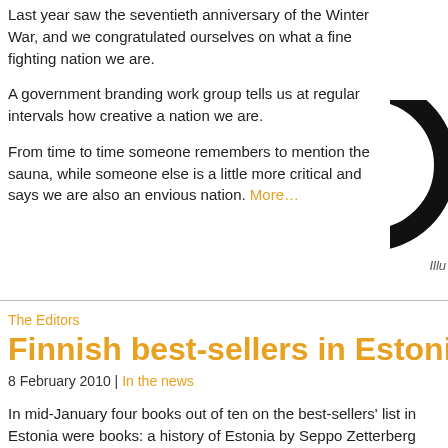Last year saw the seventieth anniversary of the Winter War, and we congratulated ourselves on what a fine fighting nation we are.
A government branding work group tells us at regular intervals how creative a nation we are.
From time to time someone remembers to mention the sauna, while someone else is a little more critical and says we are also an envious nation. More…
[Figure (illustration): Partial circular graphic visible on right side of page, with caption 'Illu' visible]
Illu
The Editors
Finnish best-sellers in Estoni
8 February 2010 | In the news
In mid-January four books out of ten on the best-sellers' list in Estonia were books: a history of Estonia by Seppo Zetterberg (Viron historia, 2007, num century Estonian history edited by Sofi Oksanen and Imbi Paju (Kaikco ta